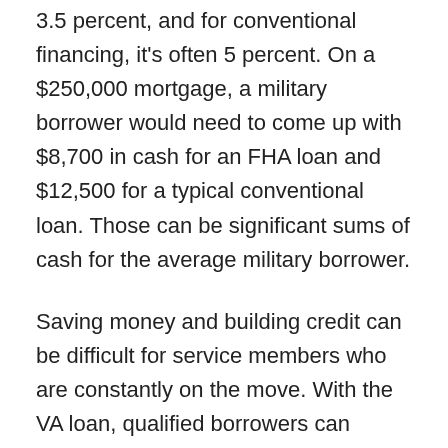3.5 percent, and for conventional financing, it's often 5 percent. On a $250,000 mortgage, a military borrower would need to come up with $8,700 in cash for an FHA loan and $12,500 for a typical conventional loan. Those can be significant sums of cash for the average military borrower.
Saving money and building credit can be difficult for service members who are constantly on the move. With the VA loan, qualified borrowers can finance 100 percent of the home's value without putting down a dime.
Take a look at the chart below to see how much you can save through the no-money-down benefit of the VA loan.